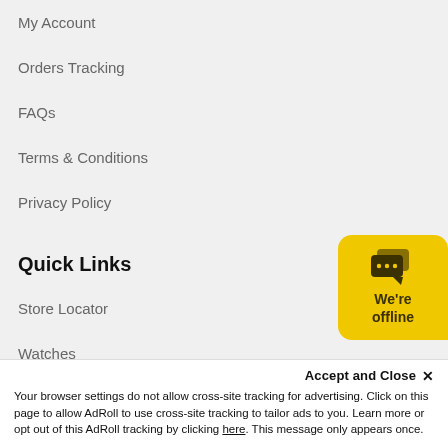My Account
Orders Tracking
FAQs
Terms & Conditions
Privacy Policy
Quick Links
Store Locator
Watches
Parts
Jewellery
Cloc...
[Figure (other): Yellow chat widget with speech bubble icon and text 'We're offline']
Accept and Close ×
Your browser settings do not allow cross-site tracking for advertising. Click on this page to allow AdRoll to use cross-site tracking to tailor ads to you. Learn more or opt out of this AdRoll tracking by clicking here. This message only appears once.